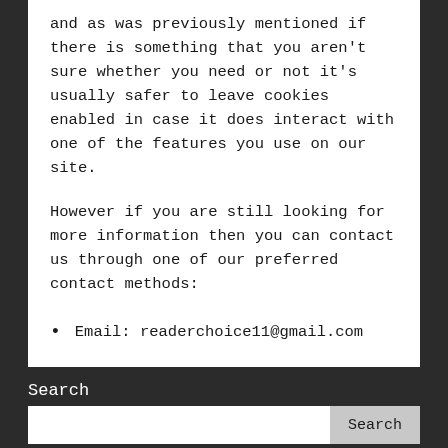and as was previously mentioned if there is something that you aren't sure whether you need or not it's usually safer to leave cookies enabled in case it does interact with one of the features you use on our site.
However if you are still looking for more information then you can contact us through one of our preferred contact methods:
Email: readerchoice11@gmail.com
Search